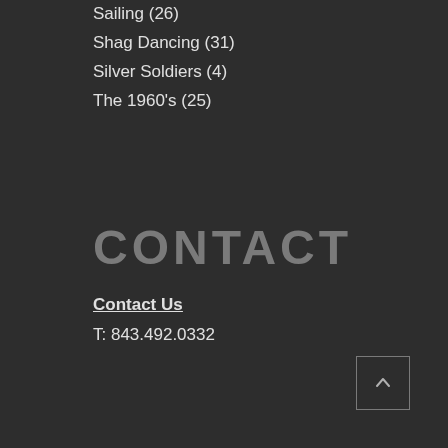Sailing (26)
Shag Dancing (31)
Silver Soldiers (4)
The 1960's (25)
CONTACT
Contact Us
T: 843.492.0332